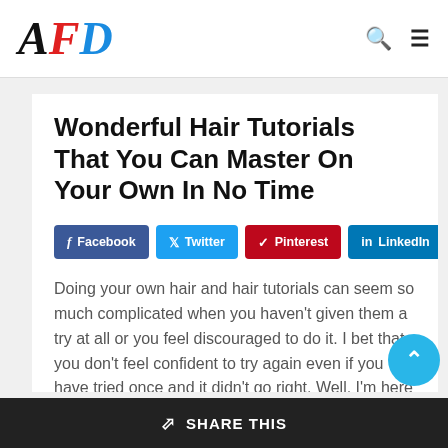AFD
Wonderful Hair Tutorials That You Can Master On Your Own In No Time
Facebook  Twitter  Pinterest  LinkedIn
Doing your own hair and hair tutorials can seem so much complicated when you haven't given them a try at all or you feel discouraged to do it. I bet that you don't feel confident to try again even if you have tried once and it didn't go right. Well, I'm here to
SHARE THIS